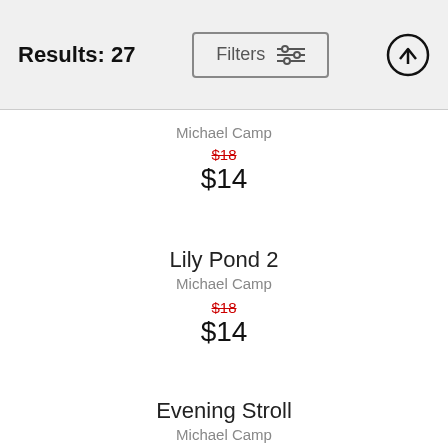Results: 27
Michael Camp
$18 (strikethrough) $14
Lily Pond 2
Michael Camp
$18 (strikethrough) $14
Evening Stroll
Michael Camp
$18 (strikethrough)